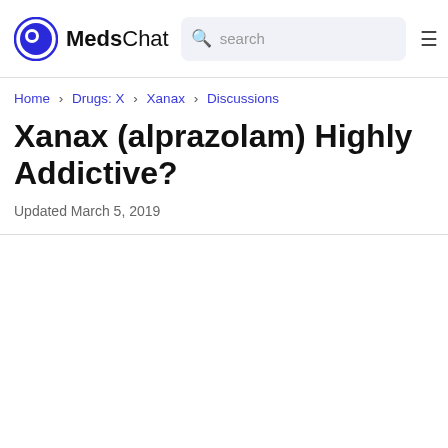MedsChat
Home › Drugs: X › Xanax › Discussions
Xanax (alprazolam) Highly Addictive?
Updated March 5, 2019